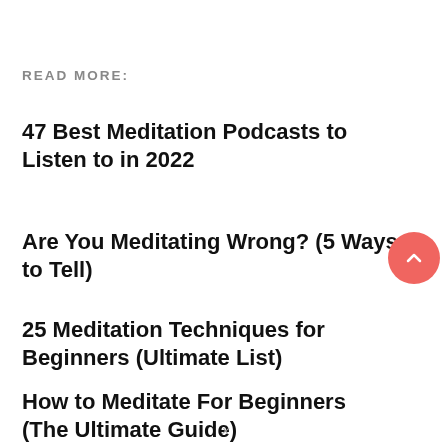READ MORE:
47 Best Meditation Podcasts to Listen to in 2022
Are You Meditating Wrong? (5 Ways to Tell)
25 Meditation Techniques for Beginners (Ultimate List)
How to Meditate For Beginners (The Ultimate Guide)